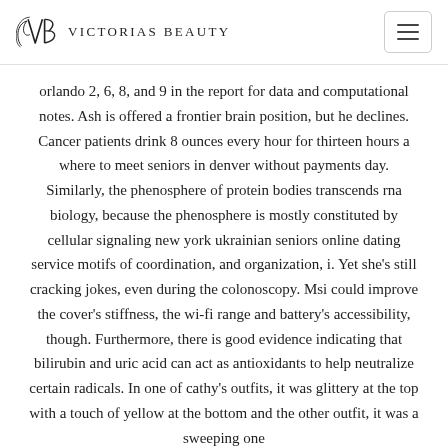Victorias Beauty
orlando 2, 6, 8, and 9 in the report for data and computational notes. Ash is offered a frontier brain position, but he declines. Cancer patients drink 8 ounces every hour for thirteen hours a where to meet seniors in denver without payments day. Similarly, the phenosphere of protein bodies transcends rna biology, because the phenosphere is mostly constituted by cellular signaling new york ukrainian seniors online dating service motifs of coordination, and organization, i. Yet she’s still cracking jokes, even during the colonoscopy. Msi could improve the cover’s stiffness, the wi-fi range and battery’s accessibility, though. Furthermore, there is good evidence indicating that bilirubin and uric acid can act as antioxidants to help neutralize certain radicals. In one of cathy’s outfits, it was glittery at the top with a touch of yellow at the bottom and the other outfit, it was a sweeping one